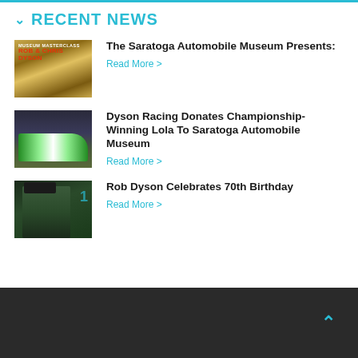RECENT NEWS
[Figure (photo): Museum Masterclass book cover featuring Rob & Chris Dyson]
The Saratoga Automobile Museum Presents:
Read More >
[Figure (photo): Green and white race car on display in museum]
Dyson Racing Donates Championship-Winning Lola To Saratoga Automobile Museum
Read More >
[Figure (photo): Rob Dyson wearing a cap and racing gear in front of scoreboard]
Rob Dyson Celebrates 70th Birthday
Read More >
^